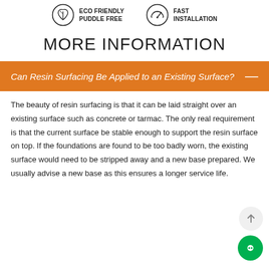[Figure (infographic): Two icon items side by side: a leaf/eco icon with text ECO FRIENDLY PUDDLE FREE, and a speedometer icon with text FAST INSTALLATION]
MORE INFORMATION
Can Resin Surfacing Be Applied to an Existing Surface?
The beauty of resin surfacing is that it can be laid straight over an existing surface such as concrete or tarmac. The only real requirement is that the current surface be stable enough to support the resin surface on top. If the foundations are found to be too badly worn, the existing surface would need to be stripped away and a new base prepared. We usually advise a new base as this ensures a longer service life.